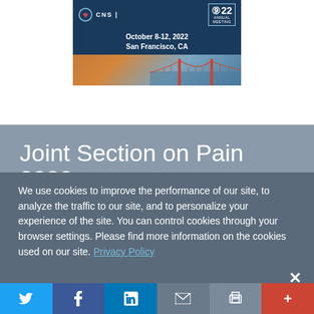[Figure (photo): CNS 2022 Annual Meeting banner showing October 8-12, 2022, San Francisco, CA with Golden Gate Bridge image]
Joint Section on Pain 2020
"The Science of Pain Treatments Meets Everyday
We use cookies to improve the performance of our site, to analyze the traffic to our site, and to personalize your experience of the site. You can control cookies through your browser settings. Please find more information on the cookies used on our site. Privacy Policy
[Figure (other): Social sharing bar with Twitter, Facebook, LinkedIn, email, print, and more buttons]